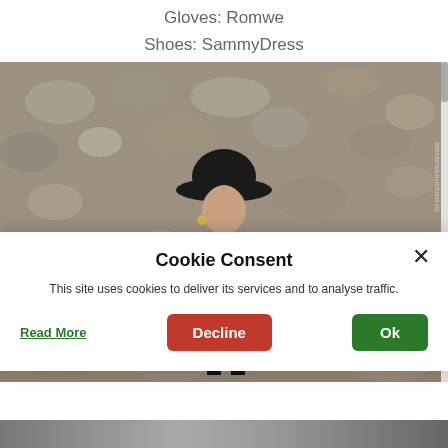Gloves: Romwe
Shoes: SammyDress
[Figure (photo): Woman in a floral dress, black hat and red gloves, standing with arms outstretched against a stone/gravel wall background. Watermark text visible on right side.]
Cookie Consent
This site uses cookies to deliver its services and to analyse traffic.
Read More
Decline
Ok